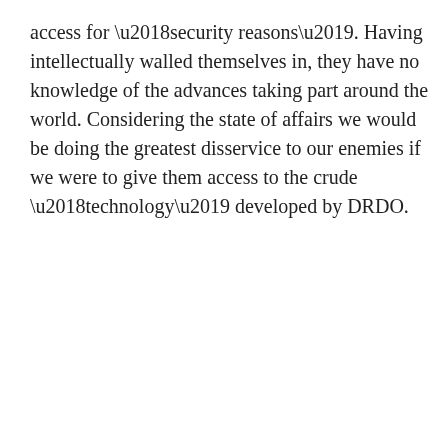access for ‘security reasons’. Having intellectually walled themselves in, they have no knowledge of the advances taking part around the world. Considering the state of affairs we would be doing the greatest disservice to our enemies if we were to give them access to the crude ‘technology’ developed by DRDO.